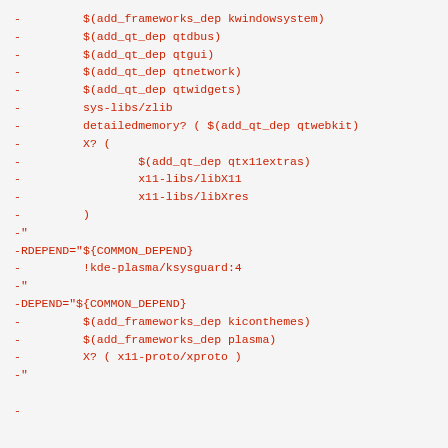- 	$(add_frameworks_dep kwindowsystem)
- 	$(add_qt_dep qtdbus)
- 	$(add_qt_dep qtgui)
- 	$(add_qt_dep qtnetwork)
- 	$(add_qt_dep qtwidgets)
- 	sys-libs/zlib
- 	detailedmemory? ( $(add_qt_dep qtwebkit)
- 	X? (
- 		$(add_qt_dep qtx11extras)
- 		x11-libs/libX11
- 		x11-libs/libXres
- 	)
-"
-RDEPEND="${COMMON_DEPEND}
- 	!kde-plasma/ksysguard:4
-"
-DEPEND="${COMMON_DEPEND}
- 	$(add_frameworks_dep kiconthemes)
- 	$(add_frameworks_dep plasma)
- 	X? ( x11-proto/xproto )
-"
-